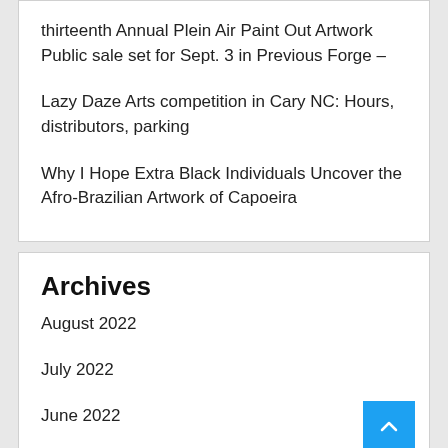thirteenth Annual Plein Air Paint Out Artwork Public sale set for Sept. 3 in Previous Forge –
Lazy Daze Arts competition in Cary NC: Hours, distributors, parking
Why I Hope Extra Black Individuals Uncover the Afro-Brazilian Artwork of Capoeira
Archives
August 2022
July 2022
June 2022